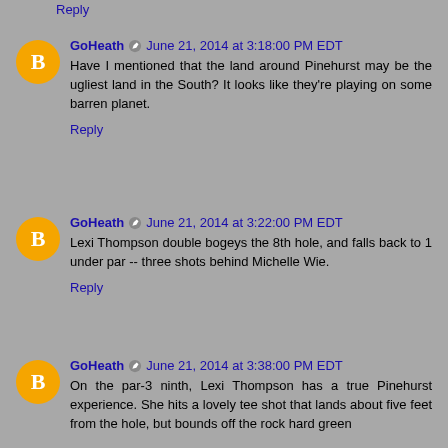Reply
GoHeath · June 21, 2014 at 3:18:00 PM EDT
Have I mentioned that the land around Pinehurst may be the ugliest land in the South? It looks like they're playing on some barren planet.
Reply
GoHeath · June 21, 2014 at 3:22:00 PM EDT
Lexi Thompson double bogeys the 8th hole, and falls back to 1 under par -- three shots behind Michelle Wie.
Reply
GoHeath · June 21, 2014 at 3:38:00 PM EDT
On the par-3 ninth, Lexi Thompson has a true Pinehurst experience. She hits a lovely tee shot that lands about five feet from the hole, but bounds off the rock hard green